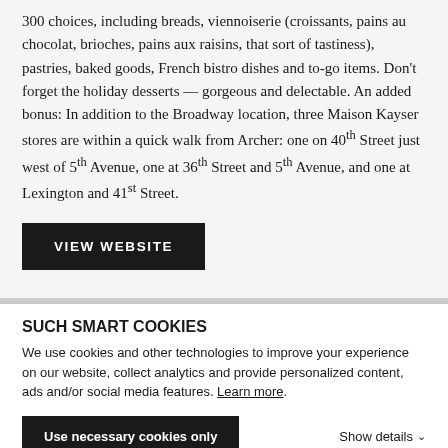300 choices, including breads, viennoiserie (croissants, pains au chocolat, brioches, pains aux raisins, that sort of tastiness), pastries, baked goods, French bistro dishes and to-go items. Don't forget the holiday desserts — gorgeous and delectable. An added bonus: In addition to the Broadway location, three Maison Kayser stores are within a quick walk from Archer: one on 40th Street just west of 5th Avenue, one at 36th Street and 5th Avenue, and one at Lexington and 41st Street.
VIEW WEBSITE
SUCH SMART COOKIES
We use cookies and other technologies to improve your experience on our website, collect analytics and provide personalized content, ads and/or social media features. Learn more.
Use necessary cookies only
Show details